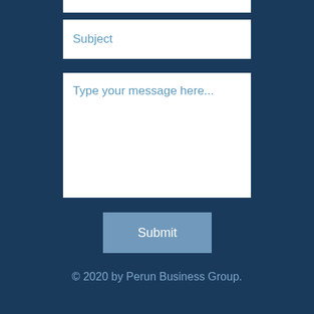[Figure (screenshot): Web contact form section showing a Subject input field, a message textarea with placeholder text 'Type your message here...', and a Submit button, all on a dark navy blue background.]
Subject
Type your message here...
Submit
© 2020 by Perun Business Group.